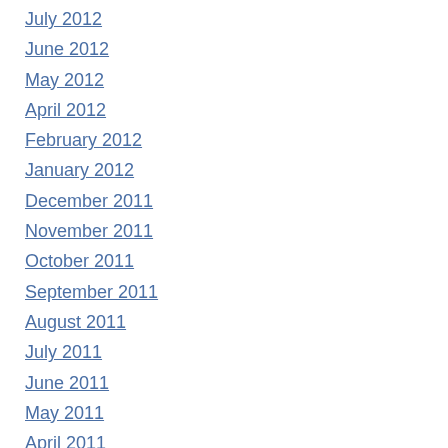July 2012
June 2012
May 2012
April 2012
February 2012
January 2012
December 2011
November 2011
October 2011
September 2011
August 2011
July 2011
June 2011
May 2011
April 2011
March 2011
February 2011
January 2011
December 2010